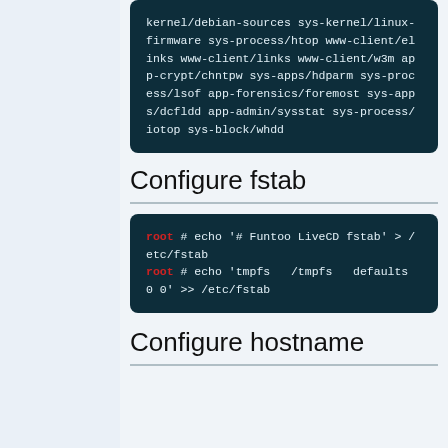kernel/debian-sources sys-kernel/linux-firmware sys-process/htop www-client/elinks www-client/links www-client/w3m app-crypt/chntpw sys-apps/hdparm sys-process/lsof app-forensics/foremost sys-apps/dcfldd app-admin/sysstat sys-process/iotop sys-block/whdd
Configure fstab
root # echo '# Funtoo LiveCD fstab' > /etc/fstab
root # echo 'tmpfs   /tmpfs   defaults        0 0' >> /etc/fstab
Configure hostname